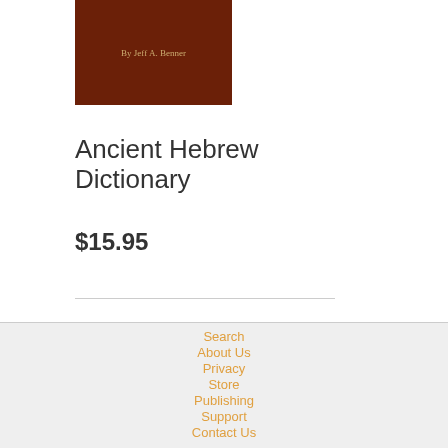[Figure (illustration): Book cover with dark brown/red background and text 'By Jeff A. Benner' in gold/tan color]
Ancient Hebrew Dictionary
$15.95
Search
About Us
Privacy
Store
Publishing
Support
Contact Us